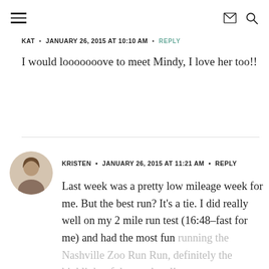Navigation bar with hamburger menu, mail icon, and search icon
KAT • JANUARY 26, 2015 AT 10:10 AM • REPLY
I would looooooove to meet Mindy, I love her too!!
KRISTEN • JANUARY 26, 2015 AT 11:21 AM • REPLY
Last week was a pretty low mileage week for me. But the best run? It's a tie. I did really well on my 2 mile run test (16:48–fast for me) and had the most fun running the Nashville Zoo Run Run, definitely the highlight of the weekend!